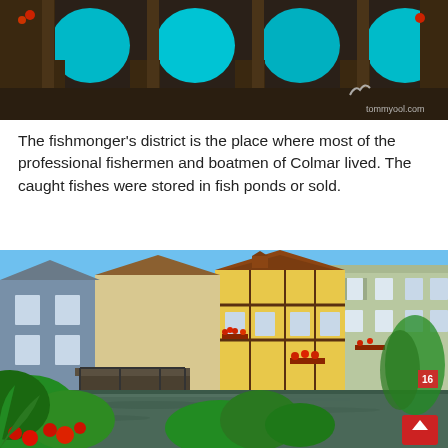[Figure (photo): Photo of ornate dark architectural arches with turquoise blue water visible through them, decorative columns, and a logo watermark reading 'tommyool.com' in bottom right corner]
The fishmonger's district is the place where most of the professional fishermen and boatmen of Colmar lived. The caught fishes were stored in fish ponds or sold.
[Figure (photo): Photo of the Petite Venise (Little Venice) district in Colmar, Alsace, France. Colorful half-timbered houses line a canal with reflections in the water. Lush green vegetation and red flowers in the foreground. Blue sky above. A red scroll-to-top button is visible in the bottom right corner.]